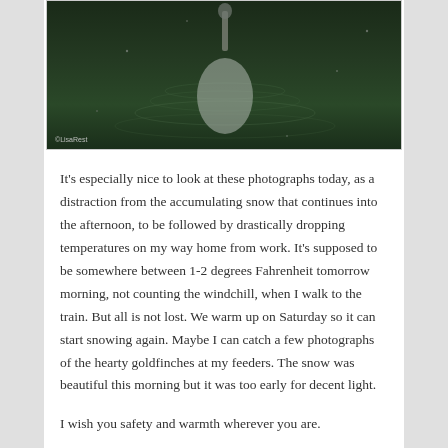[Figure (photo): A bird (likely a loon or heron) on dark water with ripple reflections. Watermark reads ©LisaRest in lower left corner.]
It's especially nice to look at these photographs today, as a distraction from the accumulating snow that continues into the afternoon, to be followed by drastically dropping temperatures on my way home from work. It's supposed to be somewhere between 1-2 degrees Fahrenheit tomorrow morning, not counting the windchill, when I walk to the train. But all is not lost. We warm up on Saturday so it can start snowing again. Maybe I can catch a few photographs of the hearty goldfinches at my feeders. The snow was beautiful this morning but it was too early for decent light.
I wish you safety and warmth wherever you are.